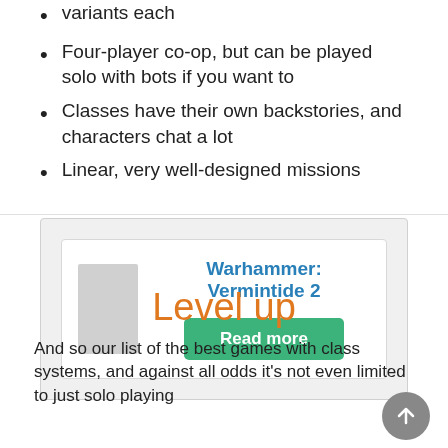variants each
Four-player co-op, but can be played solo with bots if you want to
Classes have their own backstories, and characters chat a lot
Linear, very well-designed missions
[Figure (other): Card showing Warhammer: Vermintide 2 with a placeholder game image and a green Read more button]
Level up
And so our list of the best games with class systems, and against all odds it's not even limited to just solo playing